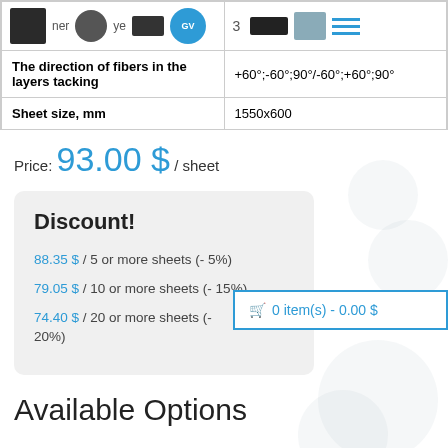| Property | Value |
| --- | --- |
| [icons row] | 3 [icons] |
| The direction of fibers in the layers tacking | +60°;-60°;90°/-60°;+60°;90° |
| Sheet size, mm | 1550x600 |
0 item(s) - 0.00 $
Price: 93.00 $ / sheet
Discount!
88.35 $ / 5 or more sheets (- 5%)
79.05 $ / 10 or more sheets (- 15%)
74.40 $ / 20 or more sheets (- 20%)
Available Options